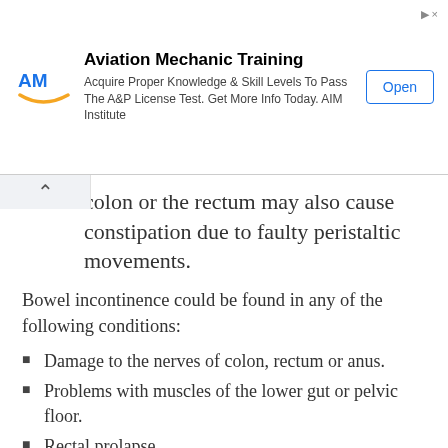[Figure (other): Advertisement banner for Aviation Mechanic Training by AIM Institute with logo, text, and Open button]
colon or the rectum may also cause constipation due to faulty peristaltic movements.
Bowel incontinence could be found in any of the following conditions:
Damage to the nerves of colon, rectum or anus.
Problems with muscles of the lower gut or pelvic floor.
Rectal prolapse.
Surgery of rectum or anus.
Rectocele.